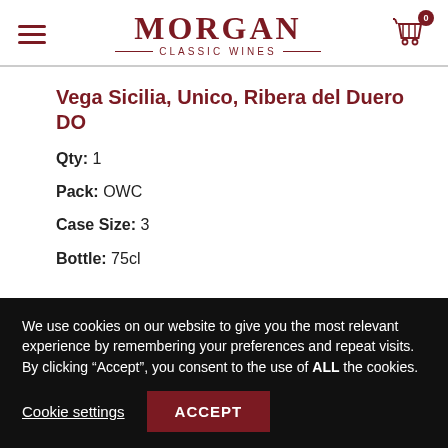MORGAN CLASSIC WINES
Vega Sicilia, Unico, Ribera del Duero DO
Qty: 1
Pack: OWC
Case Size: 3
Bottle: 75cl
We use cookies on our website to give you the most relevant experience by remembering your preferences and repeat visits. By clicking “Accept”, you consent to the use of ALL the cookies.
Cookie settings
ACCEPT